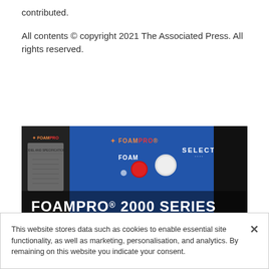contributed.
All contents © copyright 2021 The Associated Press. All rights reserved.
[Figure (photo): FoamPro 2000 Series product advertisement showing control panel with buttons labeled FOAM and SELECT, with large white bold text reading 'FOAMPRO® 2000 SERIES STAY IN CONTROL' overlaid on the image.]
This website stores data such as cookies to enable essential site functionality, as well as marketing, personalisation, and analytics. By remaining on this website you indicate your consent.